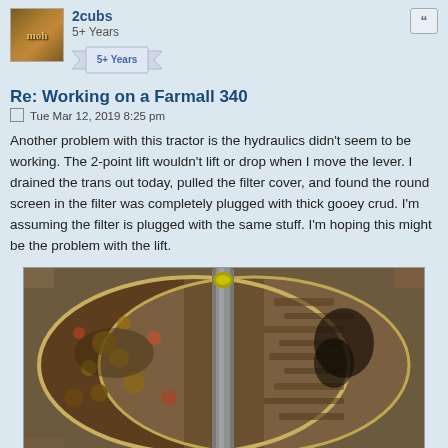2cubs
5+ Years
[Figure (photo): User avatar image showing a tractor/farm related image with 'moh' text visible]
[Figure (illustration): Badge ribbon showing '5+ Years']
Re: Working on a Farmall 340
Tue Mar 12, 2019 8:25 pm
Another problem with this tractor is the hydraulics didn't seem to be working. The 2-point lift wouldn't lift or drop when I move the lever. I drained the trans out today, pulled the filter cover, and found the round screen in the filter was completely plugged with thick gooey crud. I'm assuming the filter is plugged with the same stuff. I'm hoping this might be the problem with the lift.
[Figure (photo): Photo of a tractor hydraulic filter showing heavy contamination with thick gooey crud. Left side shows filter with liquid debris, right side shows dry packed debris. A metal handle/rod runs through the center of the round filter canister.]